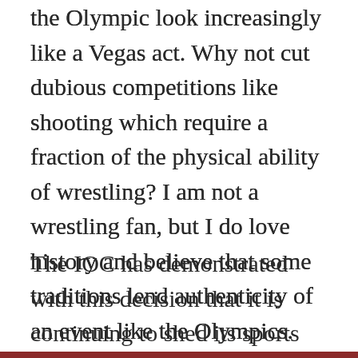the Olympic look increasingly like a Vegas act. Why not cut dubious competitions like shooting which require a fraction of the physical ability of wrestling? I am not a wrestling fan, but I do love history and believe that some traditions lend authenticity of an event like the Olympics.
The IOC has demonstrated with this decision that it is continuing to shed its sports orientation in favor of a